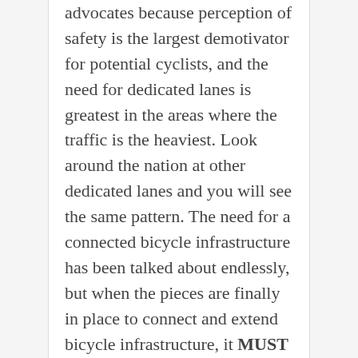advocates because perception of safety is the largest demotivator for potential cyclists, and the need for dedicated lanes is greatest in the areas where the traffic is the heaviest. Look around the nation at other dedicated lanes and you will see the same pattern. The need for a connected bicycle infrastructure has been talked about endlessly, but when the pieces are finally in place to connect and extend bicycle infrastructure, it MUST be done carefully...